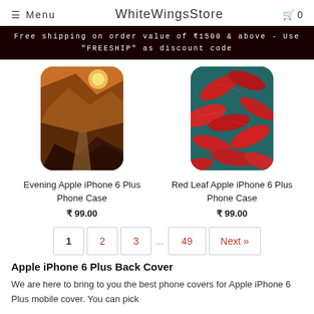≡ Menu   WhiteWingsStore   🛒 0
Free shipping on order value of ₹1500 & above - Use "FREESHIP" as discount code
[Figure (photo): Evening landscape phone case with sunset forest road scene]
[Figure (photo): Red leaf phone case with vibrant red leaves on teal background]
Evening Apple iPhone 6 Plus Phone Case
₹ 99.00
Red Leaf Apple iPhone 6 Plus Phone Case
₹ 99.00
1  2  3  ...  49  Next »
Apple iPhone 6 Plus Back Cover
We are here to bring to you the best phone covers for Apple iPhone 6 Plus mobile cover. You can pick